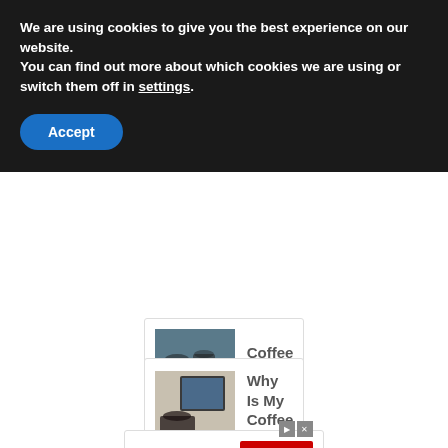We are using cookies to give you the best experience on our website.
You can find out more about which cookies we are using or switch them off in settings.
Accept
Coffee ...
Why Is My Coffee Maker So ...
VirginiaDebtRelief.org®
Open
Ad